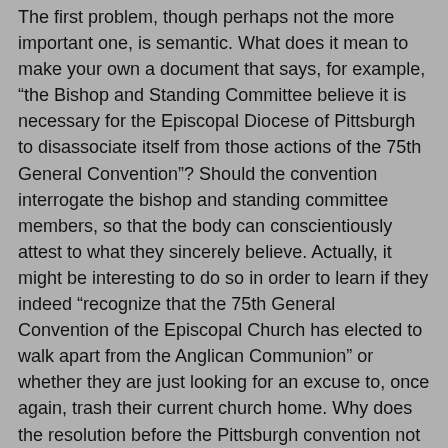The first problem, though perhaps not the more important one, is semantic. What does it mean to make your own a document that says, for example, "the Bishop and Standing Committee believe it is necessary for the Episcopal Diocese of Pittsburgh to disassociate itself from those actions of the 75th General Convention"? Should the convention interrogate the bishop and standing committee members, so that the body can conscientiously attest to what they sincerely believe. Actually, it might be interesting to do so in order to learn if they indeed "recognize that the 75th General Convention of the Episcopal Church has elected to walk apart from the Anglican Communion" or whether they are just looking for an excuse to, once again, trash their current church home. Why does the resolution before the Pittsburgh convention not ask the convention to make its own declaration of what it believes?
The bigger problem is that the resolution that the diocesan convention will rubber stamp this Friday asks for alternative primatial oversight. (The actual resolution to be voted on incorporates the earlier resolution. Whoever put this together has read Robert's Rules rather too often.) Alternative primatial oversight is what the leadership of the Pittsburgh